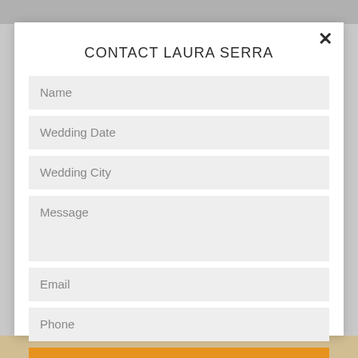CONTACT LAURA SERRA
Name
Wedding Date
Wedding City
Message
Email
Phone
SEND EMAIL